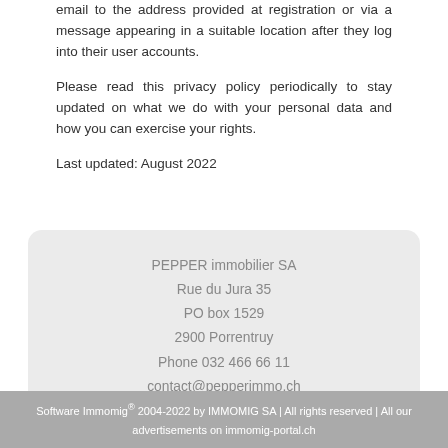email to the address provided at registration or via a message appearing in a suitable location after they log into their user accounts.
Please read this privacy policy periodically to stay updated on what we do with your personal data and how you can exercise your rights.
Last updated: August 2022
PEPPER immobilier SA
Rue du Jura 35
PO box 1529
2900 Porrentruy
Phone 032 466 66 11
contact@pepperimmo.ch
Software Immomig® 2004-2022 by IMMOMIG SA | All rights reserved | All our advertisements on immomig-portal.ch